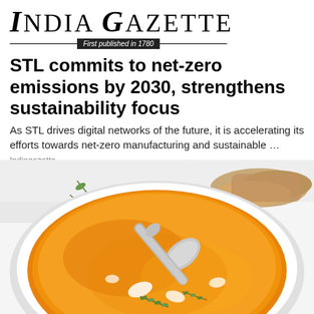India Gazette — First published in 1780
STL commits to net-zero emissions by 2030, strengthens sustainability focus
As STL drives digital networks of the future, it is accelerating its efforts towards net-zero manufacturing and sustainable …
Indiagazette
[Figure (photo): Overhead close-up photograph of a bowl of orange-yellow butternut squash or pumpkin soup with cream swirls, fresh thyme garnish, and a silver spoon resting in the bowl, with bread visible in the background on a white surface.]